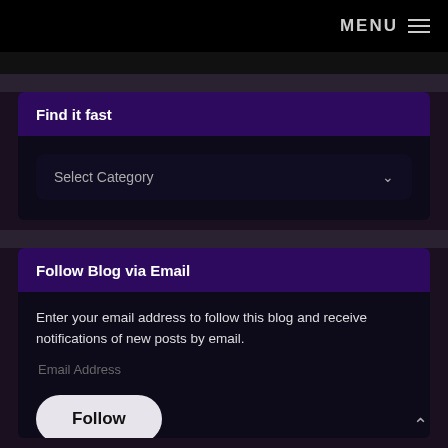MENU
Find it fast
Select Category
Follow Blog via Email
Enter your email address to follow this blog and receive notifications of new posts by email.
Email Address
Follow
Join 182 other subscribers